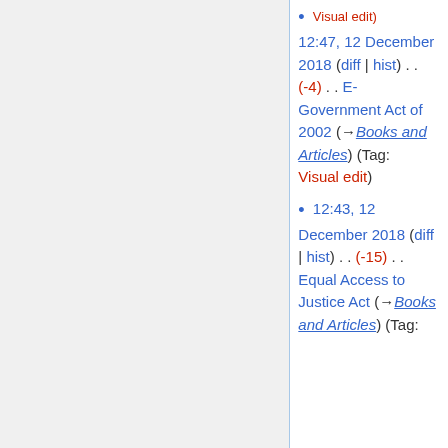12:47, 12 December 2018 (diff | hist) . . (-4) . . E-Government Act of 2002 (→Books and Articles) (Tag: Visual edit)
12:43, 12 December 2018 (diff | hist) . . (-15) . . Equal Access to Justice Act (→Books and Articles) (Tag: